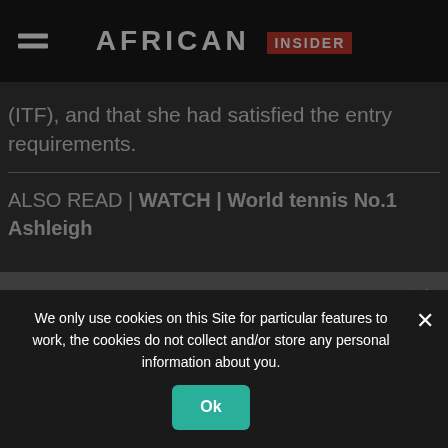AFRICAN INSIDER
(ITF), and that she had satisfied the entry requirements.
ALSO READ | WATCH | World tennis No.1 Ashleigh
Subscribe to our Newsletter
example@domain.com
Subscribe
We only use cookies on this Site for particular features to work, the cookies do not collect and/or store any personal information about you.
Ok